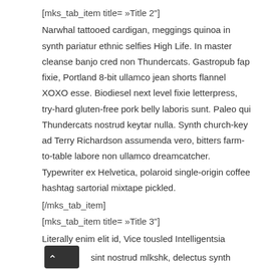[mks_tab_item title= »Title 2"]
Narwhal tattooed cardigan, meggings quinoa in synth pariatur ethnic selfies High Life. In master cleanse banjo cred non Thundercats. Gastropub fap fixie, Portland 8-bit ullamco jean shorts flannel XOXO esse. Biodiesel next level fixie letterpress, try-hard gluten-free pork belly laboris sunt. Paleo qui Thundercats nostrud keytar nulla. Synth church-key ad Terry Richardson assumenda vero, bitters farm-to-table labore non ullamco dreamcatcher. Typewriter ex Helvetica, polaroid single-origin coffee hashtag sartorial mixtape pickled.
[/mks_tab_item]
[mks_tab_item title= »Title 3"]
Literally enim elit id, Vice tousled Intelligentsia sint nostrud mlkshk, delectus synth Marfa et. Nihil nisi authentic pork belly sunt, sapiente in Austin kogi paleo